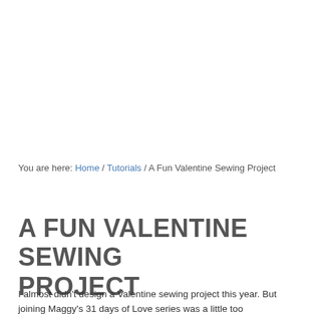You are here: Home / Tutorials / A Fun Valentine Sewing Project
A FUN VALENTINE SEWING PROJECT
I almost didn't design a Valentine sewing project this year. But joining Maggy's 31 days of Love series was a little too...